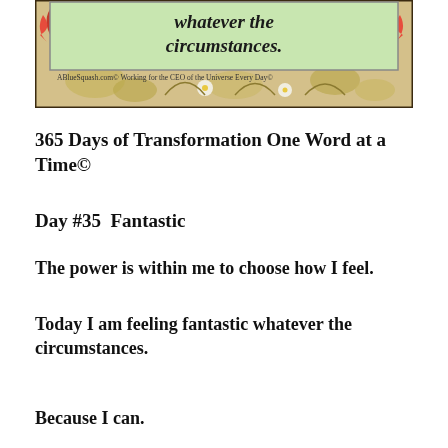[Figure (illustration): Decorative image with green box containing italic text 'whatever the circumstances.' and attribution 'ABlueSquash.com© Working for the CEO of the Universe Every Day©', surrounded by floral/ornate border pattern with red fan flowers and gold/cream botanical designs]
365 Days of Transformation One Word at a Time©
Day #35  Fantastic
The power is within me to choose how I feel.
Today I am feeling fantastic whatever the circumstances.
Because I can.